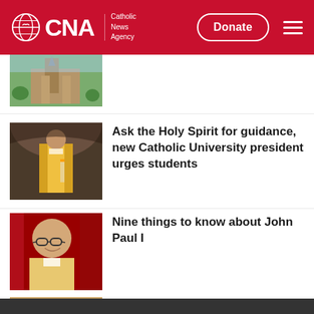CNA Catholic News Agency — Donate
[Figure (photo): Thumbnail photo of a cathedral or church building with a tower, aerial or elevated view]
[Figure (photo): Photo of a Catholic priest or bishop in golden vestments at a pulpit or altar]
Ask the Holy Spirit for guidance, new Catholic University president urges students
[Figure (photo): Black and white photo of a smiling man in clerical vestments with glasses, likely John Paul I]
Nine things to know about John Paul I
[Figure (photo): Photo of a Chinese flag in front of a building with barbed wire]
China defiant in face of Uyghurs UN report